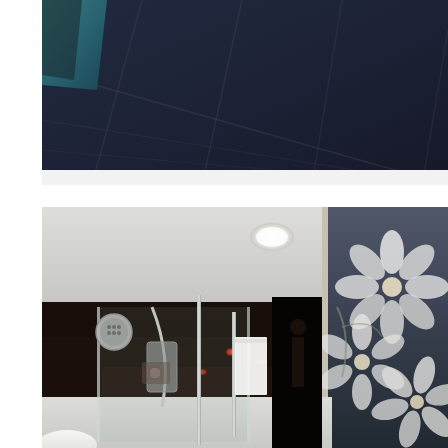[Figure (photo): Top-down view of a dark navy/charcoal tiled floor with large rectangular tiles. A glass or teal-colored furniture object is partially visible in the upper-left corner. The floor has subtle grout lines forming a grid pattern.]
[Figure (photo): Modern luxury bathroom interior featuring: white ceiling with recessed spotlights, dark mosaic tile wall with reflective surface, glass-enclosed shower area with chrome fixtures and shower head, white towel on a rack, a wall-mounted bidet/toilet in the background, a freestanding white oval bathtub in the foreground, and a decorative floral panel on the right wall with white flower illustrations on a dark background.]